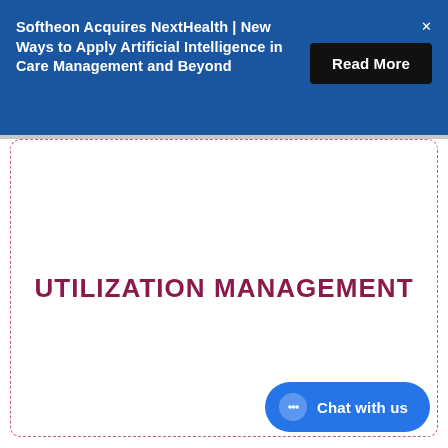Softheon Acquires NextHealth | New Ways to Apply Artificial Intelligence in Care Management and Beyond
[Figure (other): Read More button in black rounded rectangle]
UTILIZATION MANAGEMENT
[Figure (other): Chat with us button in blue pill shape with chat icon]